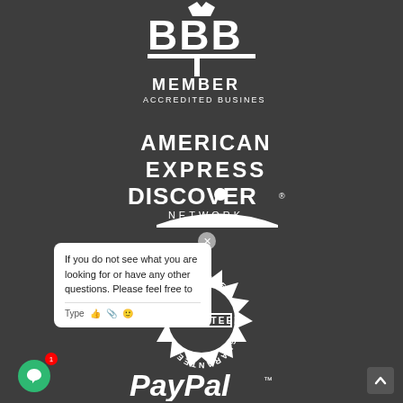[Figure (logo): BBB Member Accredited Business logo — white text on dark background showing torch/flame icon above 'BBB', then 'MEMBER' and 'ACCREDITED BUSINESS']
[Figure (logo): American Express and Discover Network logos in white on dark background]
[Figure (illustration): Circular badge/seal with 'GUARANTEED' text repeated around the border and stamped across center]
If you do not see what you are looking for or have any other questions. Please feel free to
[Figure (logo): PayPal logo in white italic text on dark background]